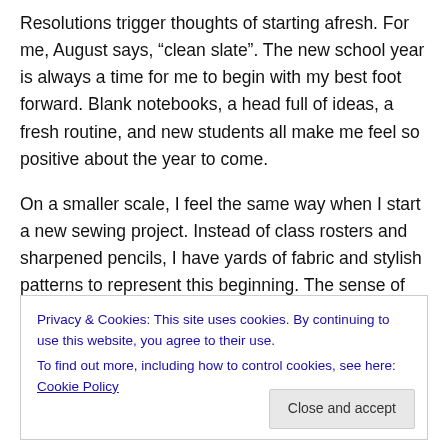Resolutions trigger thoughts of starting afresh. For me, August says, “clean slate”. The new school year is always a time for me to begin with my best foot forward. Blank notebooks, a head full of ideas, a fresh routine, and new students all make me feel so positive about the year to come.
On a smaller scale, I feel the same way when I start a new sewing project. Instead of class rosters and sharpened pencils, I have yards of fabric and stylish patterns to represent this beginning. The sense of anticipation and
Privacy & Cookies: This site uses cookies. By continuing to use this website, you agree to their use.
To find out more, including how to control cookies, see here: Cookie Policy
Close and accept
sewing project that I don’t stop to notice or savor the